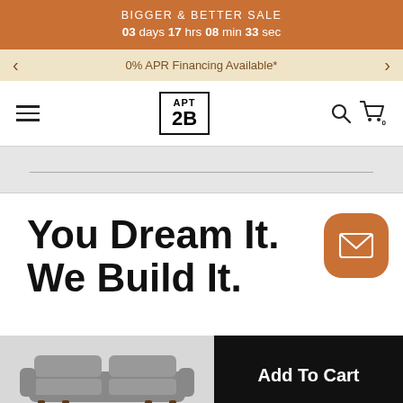BIGGER & BETTER SALE
03 days 17 hrs 08 min 33 sec
0% APR Financing Available*
[Figure (logo): APT 2B logo in bordered box, hamburger menu icon, search icon, cart icon with 0 badge]
[Figure (screenshot): Gray search/navigation area with horizontal rule]
You Dream It. We Build It.
[Figure (illustration): Gray sofa/loveseat product image at bottom left]
Add To Cart